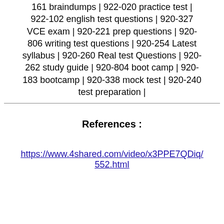161 braindumps | 922-020 practice test | 922-102 english test questions | 920-327 VCE exam | 920-221 prep questions | 920-806 writing test questions | 920-254 Latest syllabus | 920-260 Real test Questions | 920-262 study guide | 920-804 boot camp | 920-183 bootcamp | 920-338 mock test | 920-240 test preparation |
References :
https://www.4shared.com/video/x3PPE7QDiq/552.html